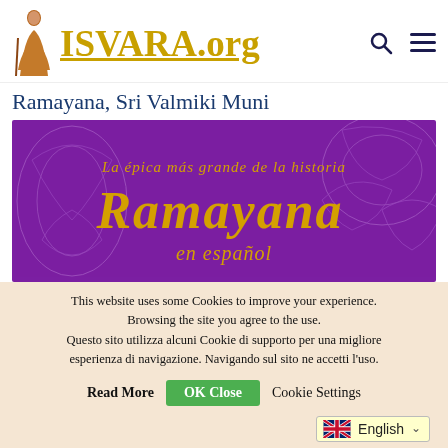ISVARA.org
Ramayana, Sri Valmiki Muni
[Figure (illustration): Purple promotional banner for Ramayana en español, with golden decorative mandala/floral patterns and gold text reading 'La épica más grande de la historia Ramayana en español']
This website uses some Cookies to improve your experience. Browsing the site you agree to the use. Questo sito utilizza alcuni Cookie di supporto per una migliore esperienza di navigazione. Navigando sul sito ne accetti l'uso.
Read More   OK Close   Cookie Settings
English